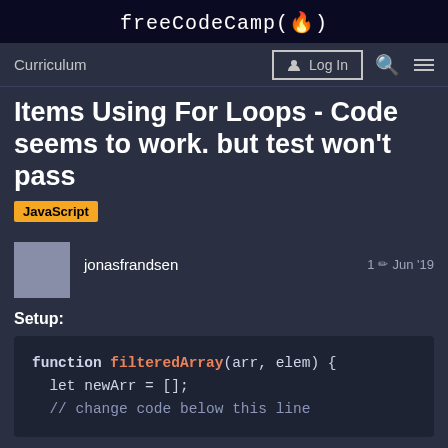freeCodeCamp(🔥)
Curriculum  Log In
Items Using For Loops - Code seems to work. but test won't pass
JavaScript
jonasfrandsen  1 ✏ Jun '19
Setup:
function filteredArray(arr, elem) {
  let newArr = [];
  // change code below this line